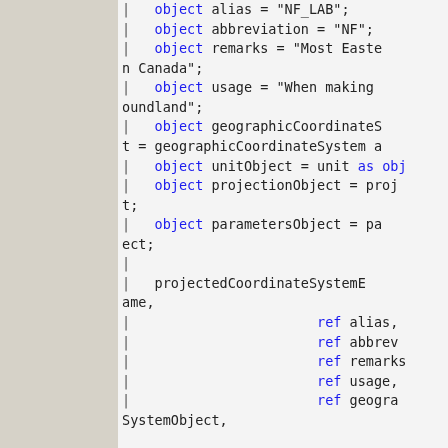[Figure (screenshot): Code snippet showing object definitions and projectedCoordinateSystem construction with object and ref keywords in blue, showing alias, abbreviation, remarks, usage, geographicCoordinateSystem, unitObject, projectionObject, parametersObject fields and ref alias, ref abbreviation, ref remarks, ref usage, ref geographicSystemObject lines]